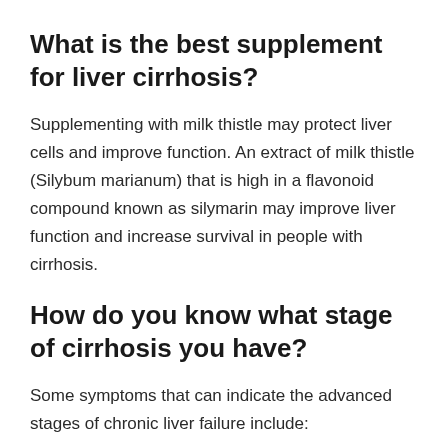What is the best supplement for liver cirrhosis?
Supplementing with milk thistle may protect liver cells and improve function. An extract of milk thistle (Silybum marianum) that is high in a flavonoid compound known as silymarin may improve liver function and increase survival in people with cirrhosis.
How do you know what stage of cirrhosis you have?
Some symptoms that can indicate the advanced stages of chronic liver failure include: